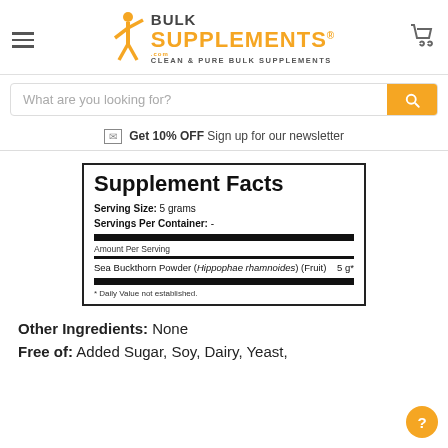[Figure (logo): BulkSupplements.com logo with orange figure and text 'BULK SUPPLEMENTS.com - CLEAN & PURE BULK SUPPLEMENTS']
What are you looking for?
Get 10% OFF Sign up for our newsletter
| Supplement Facts |
| Serving Size: 5 grams |
| Servings Per Container: - |
| Amount Per Serving |
| Sea Buckthorn Powder (Hippophae rhamnoides) (Fruit) | 5 g* |
| * Daily Value not established. |
Other Ingredients: None
Free of: Added Sugar, Soy, Dairy, Yeast,